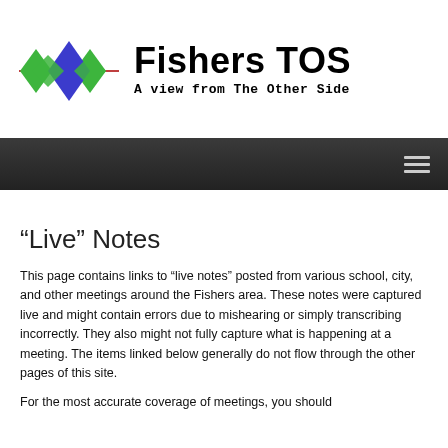[Figure (logo): Fishers TOS logo with overlapping green and blue diamond shapes and a horizontal line, with text 'Fishers TOS' and tagline 'A view from The Other Side']
[Figure (other): Dark navigation bar with hamburger menu icon on the right]
“Live” Notes
This page contains links to “live notes” posted from various school, city, and other meetings around the Fishers area. These notes were captured live and might contain errors due to mishearing or simply transcribing incorrectly. They also might not fully capture what is happening at a meeting. The items linked below generally do not flow through the other pages of this site.
For the most accurate coverage of meetings, you should